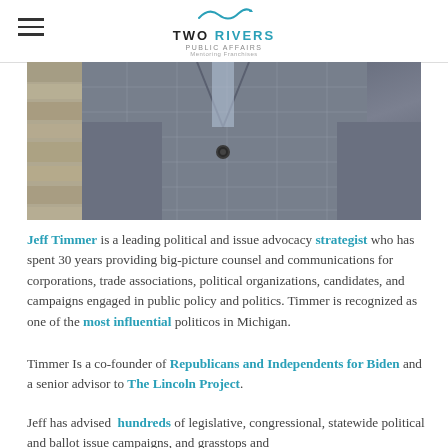TWO RIVERS PUBLIC AFFAIRS | Mentoring Franchises
[Figure (photo): Partial photo of a man wearing a grey plaid suit jacket, torso cropped, standing against a brick wall background]
Jeff Timmer is a leading political and issue advocacy strategist who has spent 30 years providing big-picture counsel and communications for corporations, trade associations, political organizations, candidates, and campaigns engaged in public policy and politics. Timmer is recognized as one of the most influential politicos in Michigan.
Timmer Is a co-founder of Republicans and Independents for Biden and a senior advisor to The Lincoln Project.
Jeff has advised hundreds of legislative, congressional, statewide political and ballot issue campaigns, and grasstops and